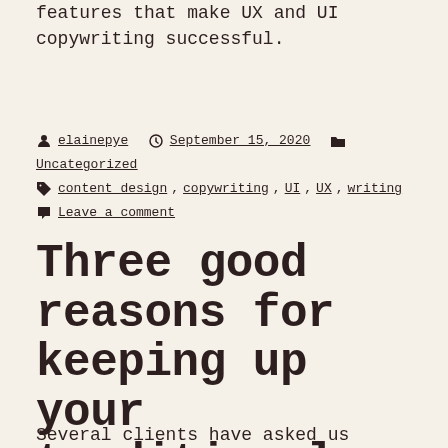features that make UX and UI copywriting successful.
By elainepye · September 15, 2020 · Uncategorized · content design, copywriting, UI, UX, writing · Leave a comment
Three good reasons for keeping up your traditional media activity
Several clients have asked us recently whether